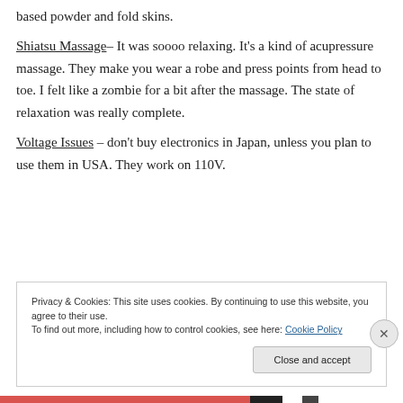based powder and fold skins.
Shiatsu Massage– It was soooo relaxing. It's a kind of acupressure massage. They make you wear a robe and press points from head to toe. I felt like a zombie for a bit after the massage. The state of relaxation was really complete.
Voltage Issues – don't buy electronics in Japan, unless you plan to use them in USA. They work on 110V.
Privacy & Cookies: This site uses cookies. By continuing to use this website, you agree to their use.
To find out more, including how to control cookies, see here: Cookie Policy